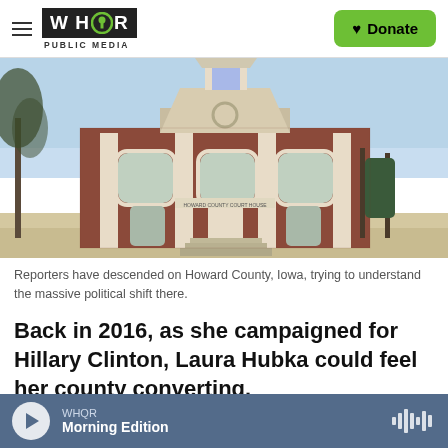WHQR PUBLIC MEDIA | Donate
[Figure (photo): Exterior photo of a red brick courthouse or public building with white trim, arched windows, and a white tower/steeple, in winter with bare trees and snow on the ground.]
Reporters have descended on Howard County, Iowa, trying to understand the massive political shift there.
Back in 2016, as she campaigned for Hillary Clinton, Laura Hubka could feel her county converting.
WHQR Morning Edition